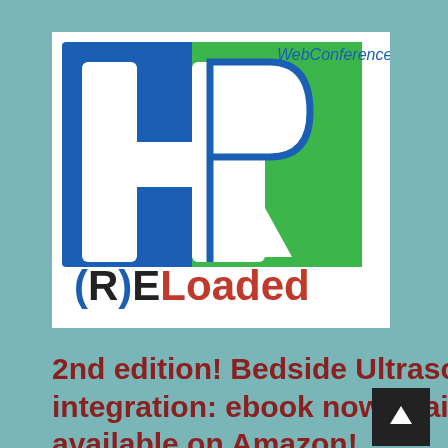[Figure (logo): HR (R)ELoaded 2020 WebConference logo. Blue and green geometric shapes forming the letters H and R, with '2020' in blue on the right side, 'WebConference' in blue text top right, and '(R)ELoaded' below in black and red.]
2nd edition! Bedside Ultrasound – a primer for clinical integration: ebook now available on iTunes and print now available on Amazon!